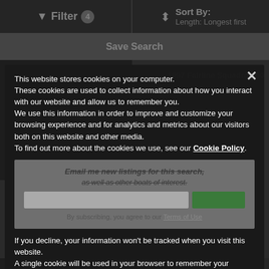Filter 4   Sort By: Length: Longest first
Save Search
[Figure (screenshot): Background boat listing page showing partial boat image and listing text '1997 Fairline Squadron 50']
This website stores cookies on your computer. These cookies are used to collect information about how you interact with our website and allow us to remember you. We use this information in order to improve and customize your browsing experience and for analytics and metrics about our visitors both on this website and other media. To find out more about the cookies we use, see our Cookie Policy.
By subscribing, you agree to our Terms of Use
If you decline, your information won't be tracked when you visit this website. A single cookie will be used in your browser to remember your preference not to be tracked.
Deny
Accept Cookies